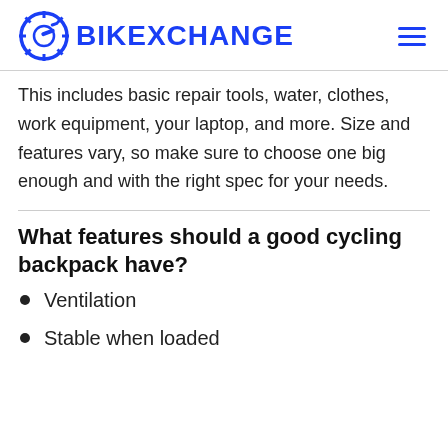BIKEXCHANGE
This includes basic repair tools, water, clothes, work equipment, your laptop, and more. Size and features vary, so make sure to choose one big enough and with the right spec for your needs.
What features should a good cycling backpack have?
Ventilation
Stable when loaded